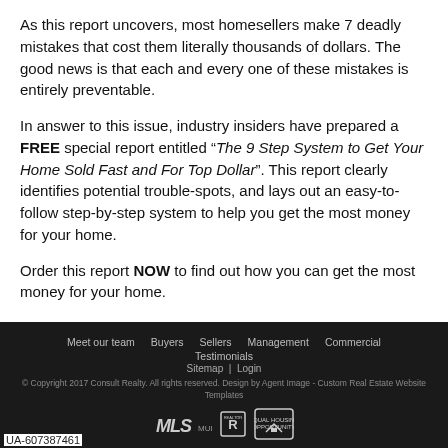As this report uncovers, most homesellers make 7 deadly mistakes that cost them literally thousands of dollars. The good news is that each and every one of these mistakes is entirely preventable.
In answer to this issue, industry insiders have prepared a FREE special report entitled “The 9 Step System to Get Your Home Sold Fast and For Top Dollar”. This report clearly identifies potential trouble-spots, and lays out an easy-to-follow step-by-step system to help you get the most money for your home.
Order this report NOW to find out how you can get the most money for your home.
Meet our team  Buyers  Sellers  Management  Commercial  Testimonials  Sitemap | Login  © Copyright 2017 Consult Realty. All rights reserved. Design by Agent Image - Custom Real Estate Website Templates  UA-607387461